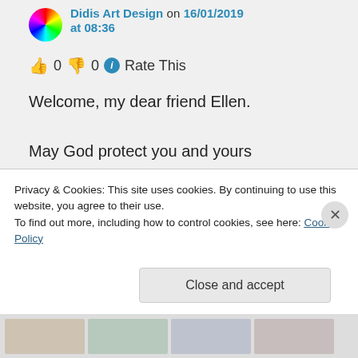Didis Art Design on 16/01/2019 at 08:36
👍 0 👎 0 ℹ Rate This
Welcome, my dear friend Ellen.

May God protect you and yours

From heart to heart

Didi
★ Liked by 1 person
Privacy & Cookies: This site uses cookies. By continuing to use this website, you agree to their use.
To find out more, including how to control cookies, see here: Cookie Policy
Close and accept